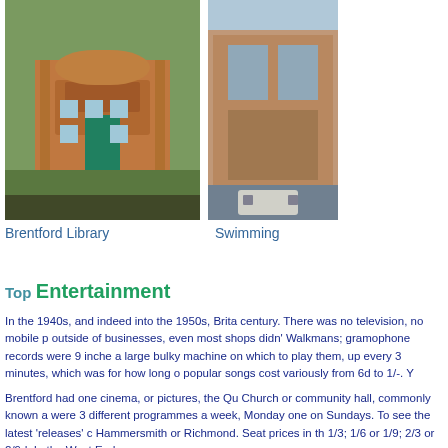[Figure (photo): Photo of Brentford Library, a red brick Victorian building with green door and trees]
Brentford Library
[Figure (photo): Photo of a Swimming pool building exterior, brick building with car parked outside]
Swimming
Top
Entertainment
In the 1940s, and indeed into the 1950s, Brita century. There was no television, no mobile p outside of businesses, even most shops didn' Walkmans; gramophone records were 9 inche a large bulky machine on which to play them, up every 3 minutes, which was for how long o popular songs cost variously from 6d to 1/-. Y
Brentford had one cinema, or pictures, the Qu Church or community hall, commonly known a were 3 different programmes a week, Monday one on Sundays. To see the latest 'releases' c Hammersmith or Richmond. Seat prices in th 1/3; 1/6 or 1/9; 2/3 or 2/9d. In the West End o
In my Brentford there was no theatre, the nea